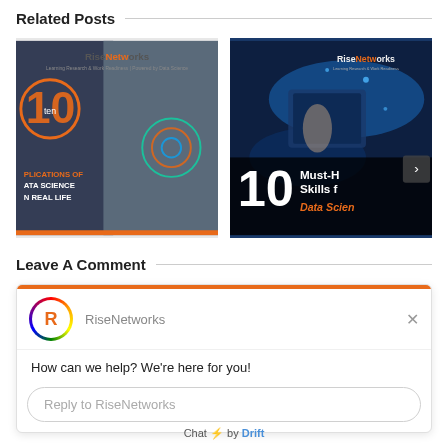Related Posts
[Figure (screenshot): Thumbnail for RiseNetworks blog post about 10 Applications of Data Science in Real Life]
[Figure (screenshot): Thumbnail for RiseNetworks blog post about 10 Must-Have Skills for Data Science]
Leave A Comment
[Figure (screenshot): Drift chat widget showing RiseNetworks branding with message 'How can we help? We're here for you!' and a Reply to RiseNetworks input field]
How can we help? We're here for you!
Reply to RiseNetworks
Chat ⚡ by Drift